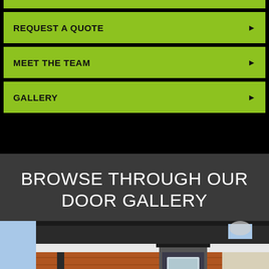REQUEST A QUOTE ▶
MEET THE TEAM ▶
GALLERY ▶
BROWSE THROUGH OUR DOOR GALLERY
[Figure (photo): Exterior photo of a brick house with a dark grey composite front door with glass panel inserts, canopy over door, and tile roof. Navigation arrows visible on sides.]